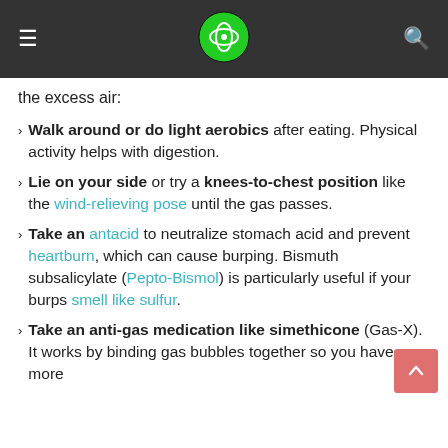Navigation header with hamburger menu, logo, and search icon
the excess air:
Walk around or do light aerobics after eating. Physical activity helps with digestion.
Lie on your side or try a knees-to-chest position like the wind-relieving pose until the gas passes.
Take an antacid to neutralize stomach acid and prevent heartburn, which can cause burping. Bismuth subsalicylate (Pepto-Bismol) is particularly useful if your burps smell like sulfur.
Take an anti-gas medication like simethicone (Gas-X). It works by binding gas bubbles together so you have more